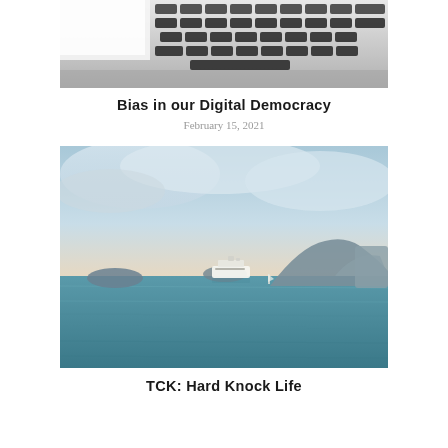[Figure (photo): Close-up photo of a laptop keyboard, partially visible from top]
Bias in our Digital Democracy
February 15, 2021
[Figure (photo): Scenic photo of a calm sea with islands in the background, a large cruise ship in the center, and a peach/blue sky at dusk]
TCK: Hard Knock Life